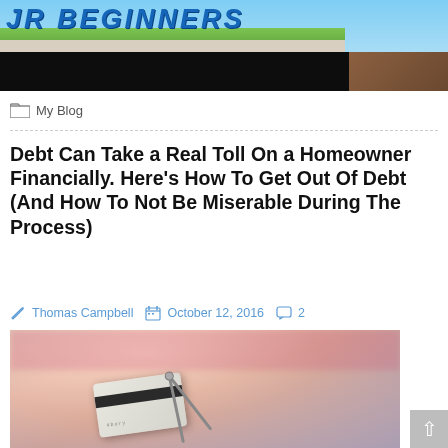[Figure (photo): Blog banner image with text 'JR BEGINNERS' in large blue letters over a sky/grass background with a person standing to the right, and a black bar below]
My Blog
Debt Can Take a Real Toll On a Homeowner Financially. Here’s How To Get Out Of Debt (And How To Not Be Miserable During The Process)
Thomas Campbell   October 12, 2016   2
[Figure (photo): Blurred photo of a person in pink clothing holding scissors and cutting a credit card]